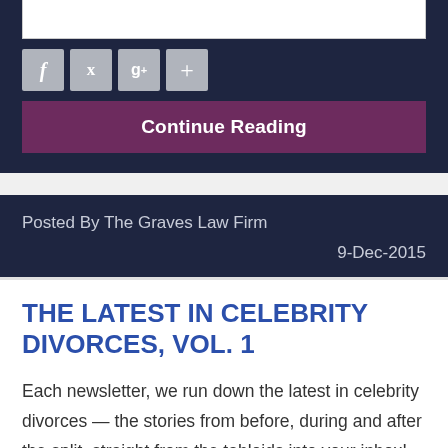[Figure (other): Social media share buttons: Facebook (f), Twitter (bird), Google+ (g+), and a plus (+) button, displayed as grey square icon buttons]
Continue Reading
Posted By The Graves Law Firm
9-Dec-2015
THE LATEST IN CELEBRITY DIVORCES, VOL. 1
Each newsletter, we run down the latest in celebrity divorces — the stories from before, during and after the split, straight from the tabloids into your inbox! Real